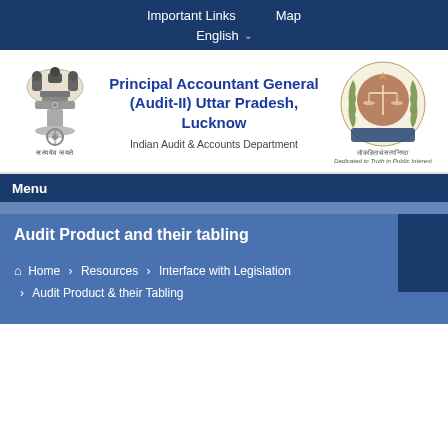Important Links   Map   English
[Figure (logo): Indian national emblem (Ashoka Pillar) with Devanagari motto satyamev jayate]
Principal Accountant General (Audit-II) Uttar Pradesh, Lucknow
Indian Audit & Accounts Department
[Figure (logo): CAG of India circular emblem with scales of justice and laurel wreath. Text: lokahitartha satyaniShtha / Dedicated to Truth in Public Interest]
Menu
Audit Product and their tabling
Home > Resources > Interface with Legislation > Audit Product & their Tabling